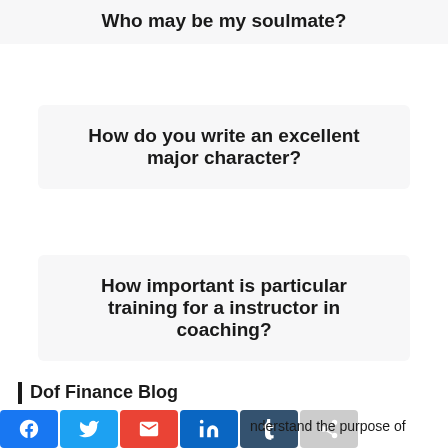Who may be my soulmate?
How do you write an excellent major character?
How important is particular training for a instructor in coaching?
| Dof Finance Blog
…nderstand the purpose of